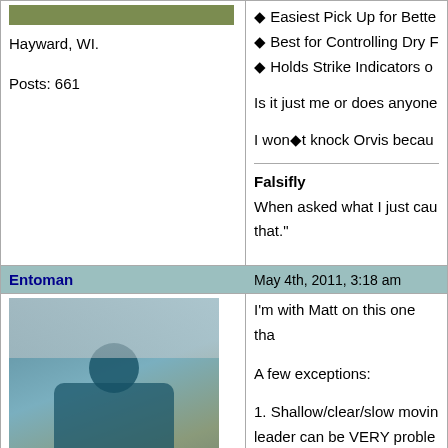Hayward, WI.
Posts: 661
Easiest Pick Up for Bette...
Best for Controlling Dry F...
Holds Strike Indicators o...
Is it just me or does anyone...
I won't knock Orvis becau...
Falsifly
When asked what I just cau... that."
Entoman
May 4th, 2011, 3:18 am
[Figure (photo): Person crouching outdoors in snowy mountain setting wearing teal jacket]
Northern CA & ID
Posts: 2604
I'm with Matt on this one tha...
A few exceptions:
1. Shallow/clear/slow movin... leader can be VERY proble...
2. Swinging flies on a dry lin... it, unless of course you war...